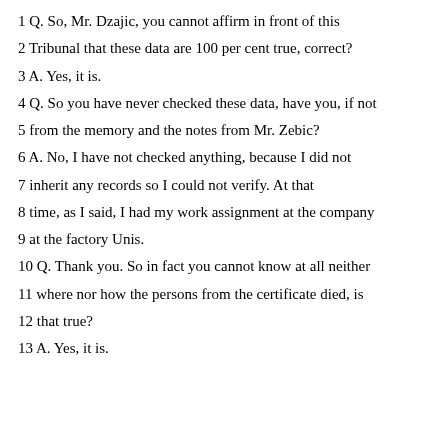1 Q. So, Mr. Dzajic, you cannot affirm in front of this
2 Tribunal that these data are 100 per cent true, correct?
3 A. Yes, it is.
4 Q. So you have never checked these data, have you, if not
5 from the memory and the notes from Mr. Zebic?
6 A. No, I have not checked anything, because I did not
7 inherit any records so I could not verify. At that
8 time, as I said, I had my work assignment at the company
9 at the factory Unis.
10 Q. Thank you. So in fact you cannot know at all neither
11 where nor how the persons from the certificate died, is
12 that true?
13 A. Yes, it is.